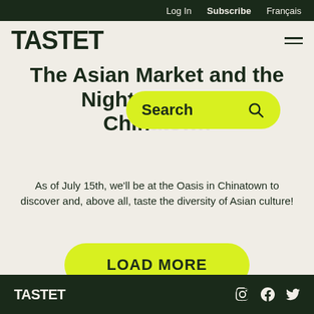Log In  Subscribe  Français
TASTET
The Asian Market and the Night Market in Chinatown
[Figure (screenshot): Yellow search bar overlay with text 'Search' and magnifying glass icon]
As of July 15th, we'll be at the Oasis in Chinatown to discover and, above all, taste the diversity of Asian culture!
LOAD MORE
TASTET — social media icons: Instagram, Facebook, Twitter